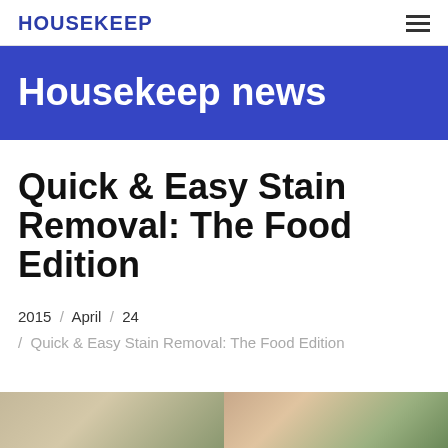HOUSEKEEP
Housekeep news
Quick & Easy Stain Removal: The Food Edition
2015 / April / 24 / Quick & Easy Stain Removal: The Food Edition
[Figure (photo): Partial view of two images at the bottom of the page, showing outdoor/nature scenes]